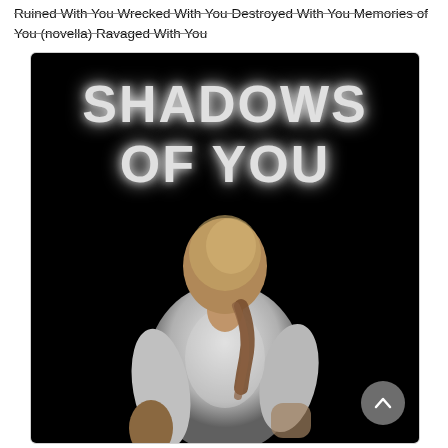Ruined With You Wrecked With You Destroyed With You Memories of You (novella) Ravaged With You
[Figure (photo): Book cover of 'Shadows of You' — dark/black background with large white glowing text 'SHADOWS OF YOU' at the top, and a man wearing a white t-shirt viewed from behind with hands on hips, showing tattoos on his forearms.]